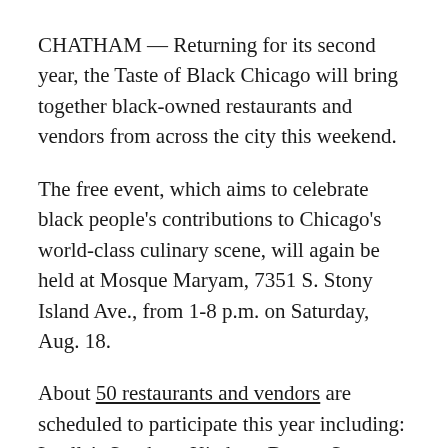CHATHAM — Returning for its second year, the Taste of Black Chicago will bring together black-owned restaurants and vendors from across the city this weekend.
The free event, which aims to celebrate black people's contributions to Chicago's world-class culinary scene, will again be held at Mosque Maryam, 7351 S. Stony Island Ave., from 1-8 p.m. on Saturday, Aug. 18.
About 50 restaurants and vendors are scheduled to participate this year including: Luella's Southern Kitchen; Brown Sugar Bakery; Jamaican Me Crazy; Ankara Imports; Imani Bean
[Figure (logo): Block Club Chicago circular logo badge with 'B' in serif font inside a square, outlined circle]